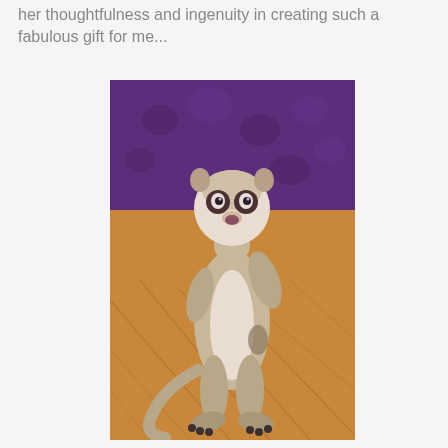her thoughtfulness and ingenuity in creating such a fabulous gift for me...
[Figure (photo): A meerkat toy figurine standing upright on a wooden surface with a purple background. The figurine is light gray/beige in color with dark eyes and a rounded head.]